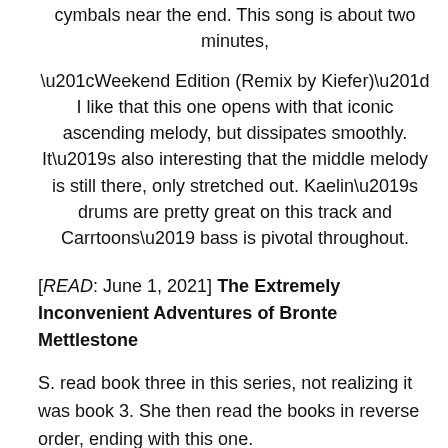cymbals near the end.  This song is about two minutes,
“Weekend Edition (Remix by Kiefer)” I like that this one opens with that iconic ascending melody, but dissipates smoothly.  It’s also interesting that the middle melody is still there, only stretched out. Kaelin’s drums are pretty great on this track and Carrtoons’ bass is pivotal throughout.
[READ: June 1, 2021] The Extremely Inconvenient Adventures of Bronte Mettlestone
S. read book three in this series, not realizing it was book 3.  She then read the books in reverse order, ending with this one.
Well, I decided to read them in the correct order.  And while I haven’t read 2 or 3 yet, book 1 was fantastic.   I